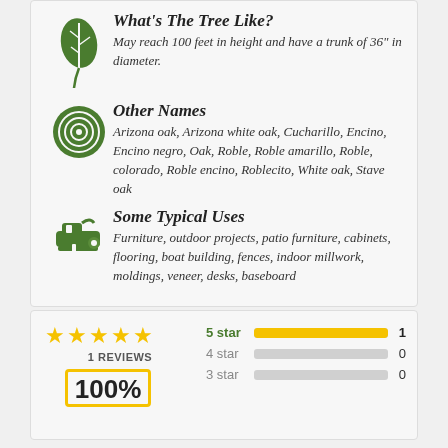[Figure (illustration): Green leaf icon]
What's The Tree Like?
May reach 100 feet in height and have a trunk of 36" in diameter.
[Figure (illustration): Green tree cross-section / wood ring icon]
Other Names
Arizona oak, Arizona white oak, Cucharillo, Encino, Encino negro, Oak, Roble, Roble amarillo, Roble, colorado, Roble encino, Roblecito, White oak, Stave oak
[Figure (illustration): Green woodworking plane tool icon]
Some Typical Uses
Furniture, outdoor projects, patio furniture, cabinets, flooring, boat building, fences, indoor millwork, moldings, veneer, desks, baseboard
[Figure (bar-chart): Star ratings]
1 REVIEWS
100%